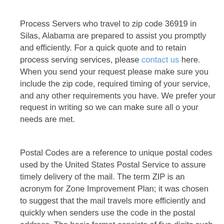Process Servers who travel to zip code 36919 in Silas, Alabama are prepared to assist you promptly and efficiently. For a quick quote and to retain process serving services, please contact us here. When you send your request please make sure you include the zip code, required timing of your service, and any other requirements you have. We prefer your request in writing so we can make sure all o your needs are met.
Postal Codes are a reference to unique postal codes used by the United States Postal Service to assure timely delivery of the mail. The term ZIP is an acronym for Zone Improvement Plan; it was chosen to suggest that the mail travels more efficiently and quickly when senders use the code in the postal address. The basic format consists of five digits such as zip code 36919 in Silas, AL. The